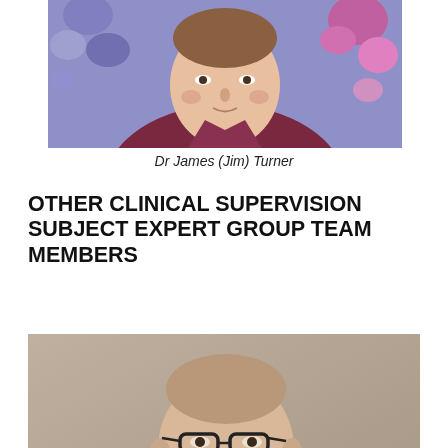[Figure (photo): Portrait photo of Dr James (Jim) Turner, person wearing dark red/maroon top with colorful floral background]
Dr James (Jim) Turner
OTHER CLINICAL SUPERVISION SUBJECT EXPERT GROUP TEAM MEMBERS
[Figure (photo): Portrait photo of an older male CS-SEG team member wearing glasses and a checked shirt]
CS-SEG TEAM MEMBER